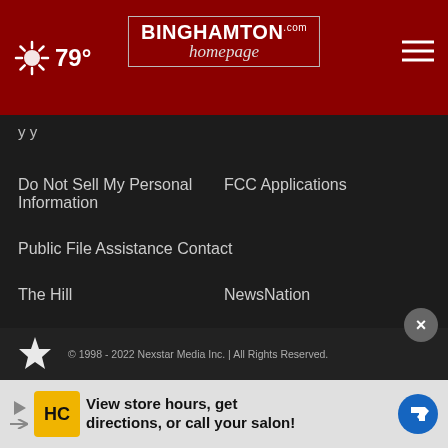79° — Binghamton Homepage
Do Not Sell My Personal Information
FCC Applications
Public File Assistance Contact
The Hill
NewsNation
BestReviews
Content Licensing
Nexstar Digital
© 1998 - 2022 Nexstar Media Inc. | All Rights Reserved.
[Figure (infographic): Advertisement banner: HC logo with text 'View store hours, get directions, or call your salon!' with navigation arrow icon]